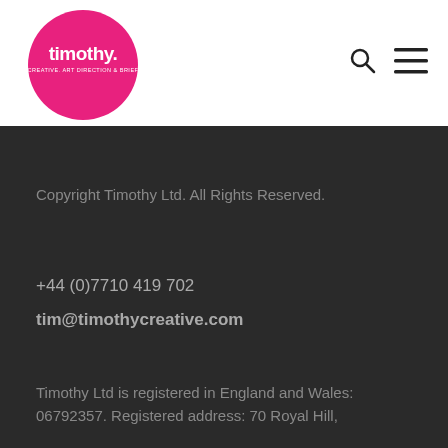[Figure (logo): Timothy creative agency logo — circular hot-pink badge with white text 'timothy.' inside]
[Figure (illustration): Search icon (magnifying glass) in the navigation bar]
[Figure (illustration): Hamburger menu icon (three horizontal lines) in the navigation bar]
Copyright Timothy Ltd. All Rights Reserved.
+44 (0)7710 419 702
tim@timothycreative.com
Timothy Ltd is registered in England and Wales: 06792357. Registered address: 70 Royal Hill,